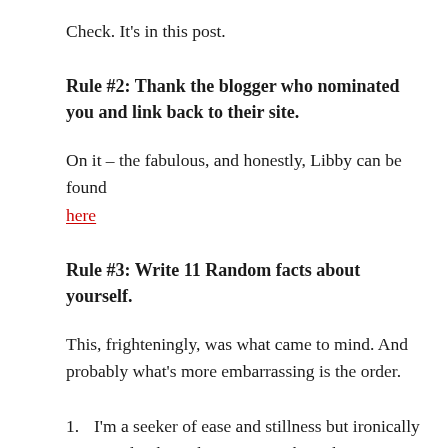Check. It's in this post.
Rule #2: Thank the blogger who nominated you and link back to their site.
On it – the fabulous, and honestly, Libby can be found here
Rule #3: Write 11 Random facts about yourself.
This, frighteningly, was what came to mind. And probably what's more embarrassing is the order.
I'm a seeker of ease and stillness but ironically I tend to be so busy getting there that I miss the moment.